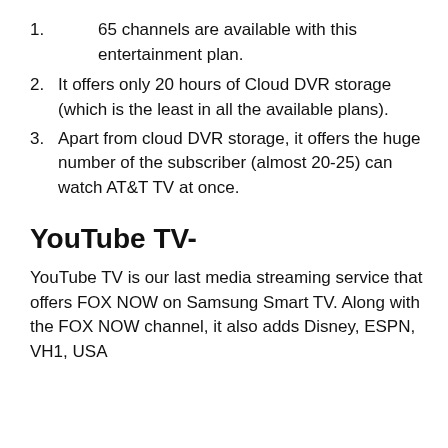1. 65 channels are available with this entertainment plan.
2. It offers only 20 hours of Cloud DVR storage (which is the least in all the available plans).
3. Apart from cloud DVR storage, it offers the huge number of the subscriber (almost 20-25) can watch AT&T TV at once.
YouTube TV-
YouTube TV is our last media streaming service that offers FOX NOW on Samsung Smart TV. Along with the FOX NOW channel, it also adds Disney, ESPN, VH1, USA